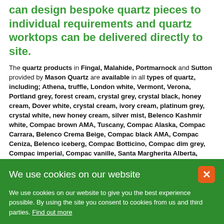can design bespoke quartz pieces to individual requirements and quartz worktops can be delivered directly to site.
The quartz products in Fingal, Malahide, Portmarnock and Sutton provided by Mason Quartz are available in all types of quartz, including; Athena, truffle, London white, Vermont, Verona, Portland grey, forest cream, crystal grey, crystal black, honey cream, Dover white, crystal cream, ivory cream, platinum grey, crystal white, new honey cream, silver mist, Belenco Kashmir white, Compac brown AMA, Tuscany, Compac Alaska, Compac Carrara, Belenco Crema Beige, Compac black AMA, Compac Ceniza, Belenco iceberg, Compac Botticino, Compac dim grey, Compac imperial, Compac vanille, Santa Margherita Alberta, Compac orange, Compac Venecia, Santa Margherita Aosta, Compac perlino, Compac warm grey
We use cookies on our website
We use cookies on our website to give you the best experience possible. By using the site you consent to cookies from us and third parties. Find out more